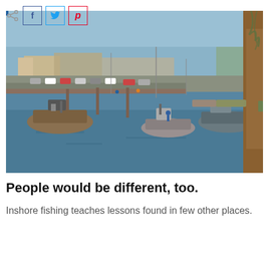[Figure (photo): Social sharing bar with share icon, Facebook (f), Twitter (bird), and Pinterest (p) buttons]
[Figure (photo): Aerial/elevated view of a busy marina with numerous fishing boats and vessels moored along docks, with a parking lot, waterfront buildings, and calm blue water. Spanish moss and wooden dock structure visible on the right edge.]
People would be different, too.
Inshore fishing teaches lessons found in few other places.